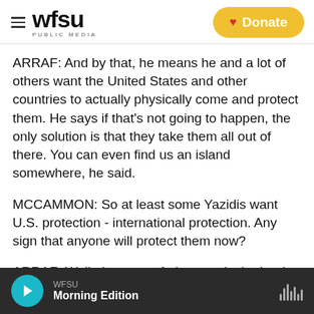wfsu PUBLIC MEDIA | Donate
ARRAF: And by that, he means he and a lot of others want the United States and other countries to actually physically come and protect them. He says if that's not going to happen, the only solution is that they take them all out of there. You can even find us an island somewhere, he said.
MCCAMMON: So at least some Yazidis want U.S. protection - international protection. Any sign that anyone will protect them now?
ARRAF: Well, the state of play now is the Iraqi
WFSU Morning Edition